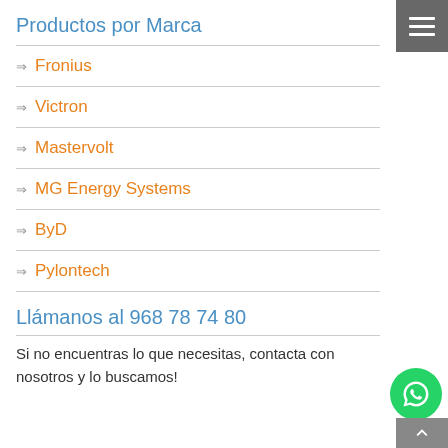Productos por Marca
→ Fronius
→ Victron
→ Mastervolt
→ MG Energy Systems
→ ByD
→ Pylontech
Llámanos al 968 78 74 80
Si no encuentras lo que necesitas, contacta con nosotros y lo buscamos!